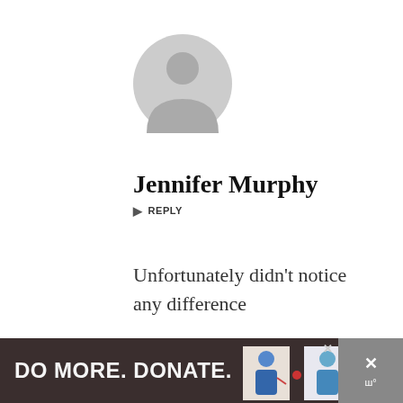[Figure (illustration): Grey circular avatar/profile placeholder icon showing a generic person silhouette]
Jennifer Murphy
↵ REPLY
Unfortunately didn't notice any difference
FEBRUARY 7, 2020
[Figure (infographic): Advertisement banner at bottom: dark brown background with text 'DO MORE. DONATE.' and small illustration images of people donating, with a close button]